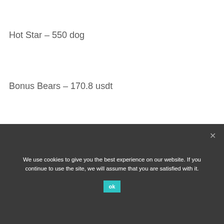Hot Star – 550 dog
Bonus Bears – 170.8 usdt
Safari – 479.6 eth
Battle of the Gods – 145 usdt
We use cookies to give you the best experience on our website. If you continue to use the site, we will assume that you are satisfied with it.